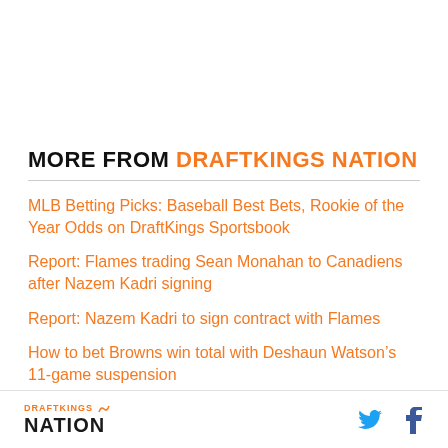MORE FROM DRAFTKINGS NATION
MLB Betting Picks: Baseball Best Bets, Rookie of the Year Odds on DraftKings Sportsbook
Report: Flames trading Sean Monahan to Canadiens after Nazem Kadri signing
Report: Nazem Kadri to sign contract with Flames
How to bet Browns win total with Deshaun Watson’s 11-game suspension
DRAFTKINGS NATION